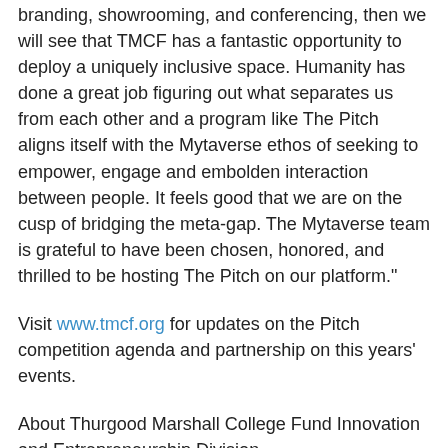branding, showrooming, and conferencing, then we will see that TMCF has a fantastic opportunity to deploy a uniquely inclusive space. Humanity has done a great job figuring out what separates us from each other and a program like The Pitch aligns itself with the Mytaverse ethos of seeking to empower, engage and embolden interaction between people. It feels good that we are on the cusp of bridging the meta-gap. The Mytaverse team is grateful to have been chosen, honored, and thrilled to be hosting The Pitch on our platform."
Visit www.tmcf.org for updates on the Pitch competition agenda and partnership on this years' events.
About Thurgood Marshall College Fund Innovation and Entrepreneurship Division